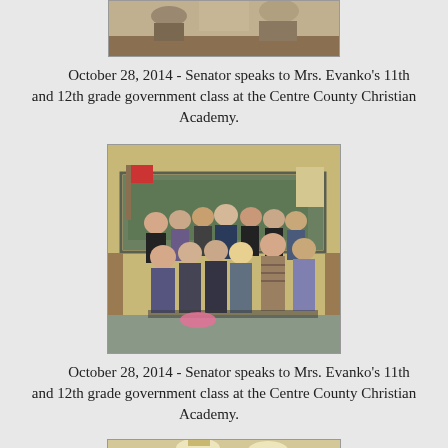[Figure (photo): Partial photo at top of page showing people in a classroom, cropped]
October 28, 2014 - Senator speaks to Mrs. Evanko's 11th and 12th grade government class at the Centre County Christian Academy.
[Figure (photo): Group photo of students and a senator standing in front of a chalkboard in a classroom at Centre County Christian Academy]
October 28, 2014 - Senator speaks to Mrs. Evanko's 11th and 12th grade government class at the Centre County Christian Academy.
[Figure (photo): Partial photo at bottom of page showing interior of a room with lights and a cross on the wall, cropped]